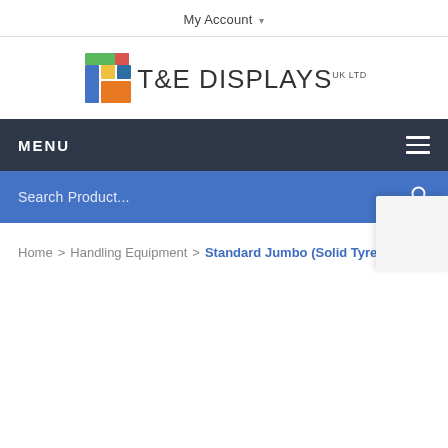My Account
[Figure (logo): T&E Displays UK LTD logo with colorful block T icon and company name]
MENU
Search Product...
Home > Handling Equipment > Standard Jumbo (Solid Tyres)